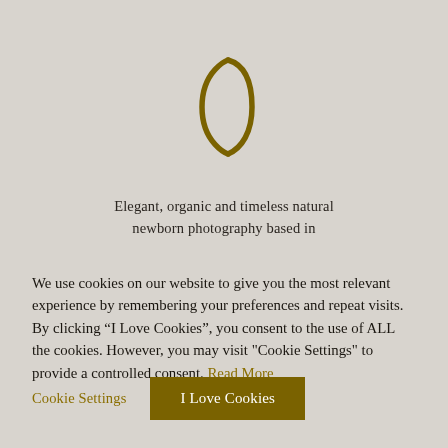[Figure (logo): Stylized golden crescent/D letter logo mark in dark gold/olive color]
Elegant, organic and timeless natural newborn photography based in
We use cookies on our website to give you the most relevant experience by remembering your preferences and repeat visits. By clicking “I Love Cookies”, you consent to the use of ALL the cookies. However, you may visit "Cookie Settings" to provide a controlled consent. Read More
Cookie Settings
I Love Cookies